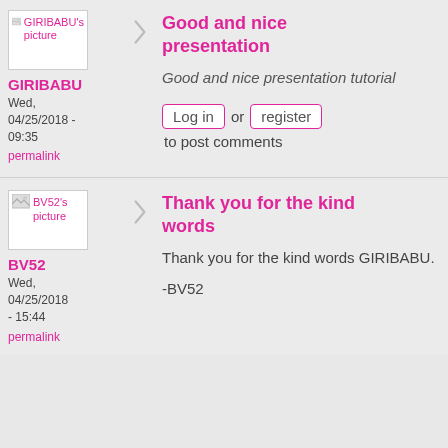[Figure (illustration): Avatar image placeholder for GIRIBABU with broken image icon and label 'GIRIBABU\'s picture']
GIRIBABU
Wed, 04/25/2018 - 09:35
permalink
Good and nice presentation
Good and nice presentation tutorial
Log in or register to post comments
[Figure (illustration): Avatar image placeholder for BV52 with broken image icon and label 'BV52\'s picture']
BV52
Wed, 04/25/2018 - 15:44
permalink
Thank you for the kind words
Thank you for the kind words GIRIBABU.
-BV52